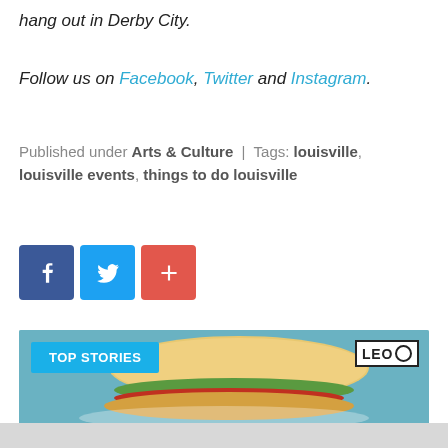hang out in Derby City.
Follow us on Facebook, Twitter and Instagram.
Published under Arts & Culture | Tags: louisville, louisville events, things to do louisville
[Figure (infographic): Social share buttons: Facebook (blue), Twitter (light blue), and a plus/share button (red-orange)]
[Figure (photo): TOP STORIES banner with LEO logo badge over a photo of a sandwich with vegetables and toppings on a plate, with a teal/blue background]